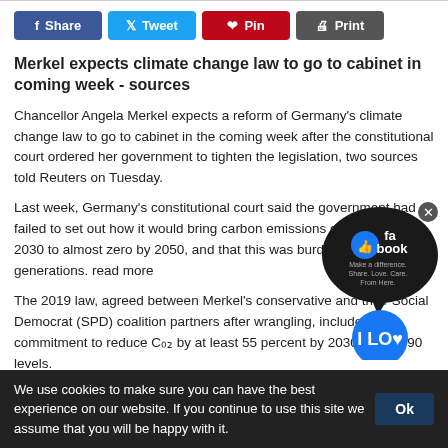[Figure (other): Social share buttons: Share (Facebook, blue), Tweet (Twitter, light blue), Pin (Pinterest, red), Print (grey)]
Merkel expects climate change law to go to cabinet in coming week - sources
Chancellor Angela Merkel expects a reform of Germany's climate change law to go to cabinet in the coming week after the constitutional court ordered her government to tighten the legislation, two sources told Reuters on Tuesday.
Last week, Germany's constitutional court said the government had failed to set out how it would bring carbon emissions down beyond 2030 to almost zero by 2050, and that this was burdening future generations. read more
The 2019 law, agreed between Merkel's conservative and their Social Democrat (SPD) coalition partners after wrangling, includes a commitment to reduce CO2 by at least 55 percent by 2030 from 1990 levels.
[Figure (other): Facebook 'I Love' social media overlay ad/popup with thumbs up icon and text 'Make a difference. Share. Love. Care. From Here.' and 'I LOU' badge]
We use cookies to make sure you can have the best experience on our website. If you continue to use this site we assume that you will be happy with it.